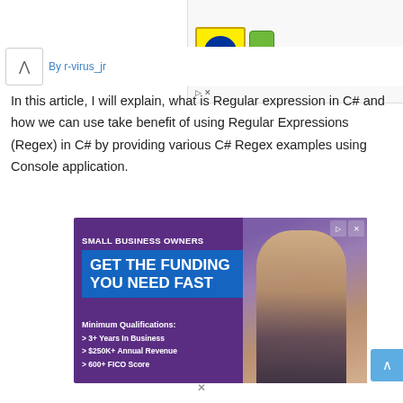[Figure (screenshot): Top-right panel showing Lidl logo icon with yellow background and a can product, with green checkmark and 'In-store shopping' text, plus ad controls (play and close buttons)]
By r-virus_jr
In this article, I will explain, what is Regular expression in C# and how we can use take benefit of using Regular Expressions (Regex) in C# by providing various C# Regex examples using Console application.
[Figure (photo): Advertisement banner: 'SMALL BUSINESS OWNERS - GET THE FUNDING YOU NEED FAST' with minimum qualifications: 3+ Years In Business, $250K+ Annual Revenue, 600+ FICO Score (partially visible). Purple/blue background with photo of smiling man in apron.]